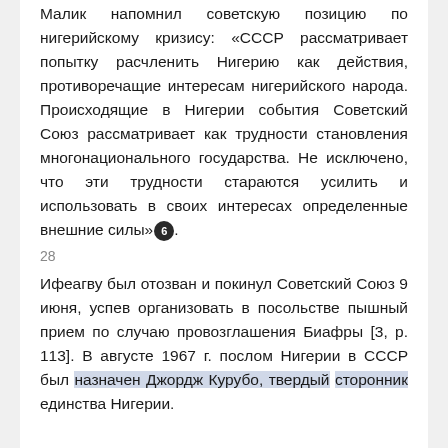Малик напомнил советскую позицию по нигерийскому кризису: «СССР рассматривает попытку расчленить Нигерию как действия, противоречащие интересам нигерийского народа. Происходящие в Нигерии события Советский Союз рассматривает как трудности становления многонационального государства. Не исключено, что эти трудности стараются усилить и использовать в своих интересах определенные внешние силы»[6].
28
Ифеагву был отозван и покинул Советский Союз 9 июня, успев организовать в посольстве пышный прием по случаю провозглашения Биафры [3, р. 113]. В августе 1967 г. послом Нигерии в СССР был назначен Джордж Курубо, твердый сторонник единства Нигерии.